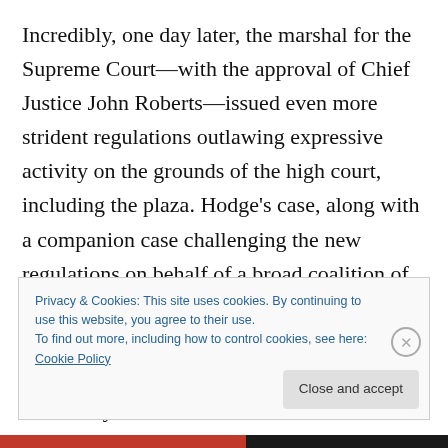Incredibly, one day later, the marshal for the Supreme Court—with the approval of Chief Justice John Roberts—issued even more strident regulations outlawing expressive activity on the grounds of the high court, including the plaza. Hodge's case, along with a companion case challenging the new regulations on behalf of a broad coalition of protesters, is now making its way through the appeals process. Ironically, it will be the justices of the U.S. Supreme Court who will eventually be asked to decide the constitutionality of their own statute, yet they
Privacy & Cookies: This site uses cookies. By continuing to use this website, you agree to their use.
To find out more, including how to control cookies, see here: Cookie Policy